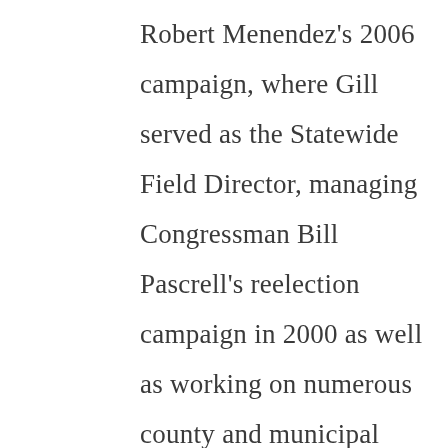Robert Menendez's 2006 campaign, where Gill served as the Statewide Field Director, managing Congressman Bill Pascrell's reelection campaign in 2000 as well as working on numerous county and municipal races throughout New Jersey.